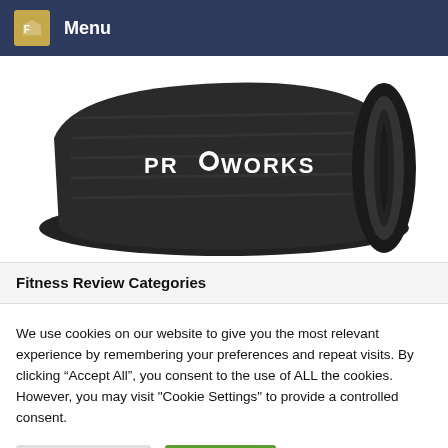Menu
[Figure (photo): A rolled/folded black yoga mat with the PROWORKS logo in white text]
Fitness Review Categories
We use cookies on our website to give you the most relevant experience by remembering your preferences and repeat visits. By clicking “Accept All”, you consent to the use of ALL the cookies. However, you may visit "Cookie Settings" to provide a controlled consent.
Cookie Settings | Accept All